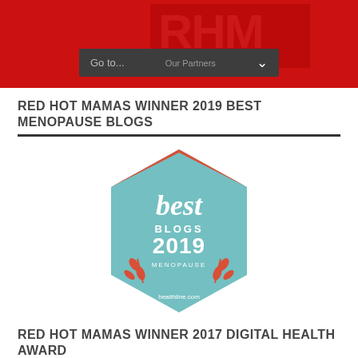[Figure (screenshot): Red header bar with navigation dropdown reading 'Go to...' and 'Our Partners', with a red logo/banner in background]
RED HOT MAMAS WINNER 2019 BEST MENOPAUSE BLOGS
[Figure (logo): Healthline.com Best Blogs 2019 Menopause badge — teal hexagon shape with red accent, italic 'best' text, 'BLOGS 2019 MENOPAUSE' and 'healthline.com']
RED HOT MAMAS WINNER 2017 DIGITAL HEALTH AWARD
[Figure (logo): Digital Health Awards logo — white oval with blue border, red arc, italic 'Health' script, 'DIGITAL' and 'AWARDS®' text, 'WINNER' banner at bottom]